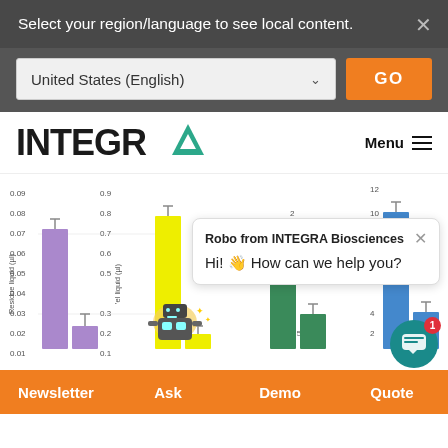Select your region/language to see local content.
United States (English)
GO
[Figure (logo): INTEGRA logo with teal triangle A]
Menu
[Figure (bar-chart): Partial bar chart showing residue liquid data with purple, yellow, green, and blue bars with error bars. Y-axis labels: 0.09, 0.08, 0.07, 0.06, 0.05, 0.04, 0.03, 0.02, 0.01 (Residue liquid µl); second axis: 0.9, 0.8, 0.7, 0.6, 0.5, 0.3, 0.2, 0.1; third axis: 2, 0.5; fourth axis: 12, 10, 4, 2. Robot mascot visible.]
Robo from INTEGRA Biosciences
Hi! 👋 How can we help you?
Newsletter
Ask
Demo
Quote